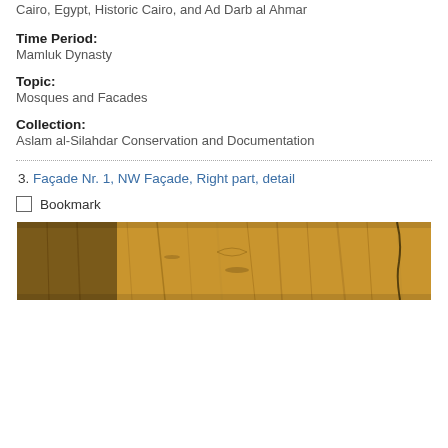Cairo, Egypt, Historic Cairo, and Ad Darb al Ahmar
Time Period:
Mamluk Dynasty
Topic:
Mosques and Facades
Collection:
Aslam al-Silahdar Conservation and Documentation
3. Façade Nr. 1, NW Façade, Right part, detail
Bookmark
[Figure (photo): A horizontal photograph showing a close-up of a weathered wooden surface with cracks and grain texture, golden-brown color.]